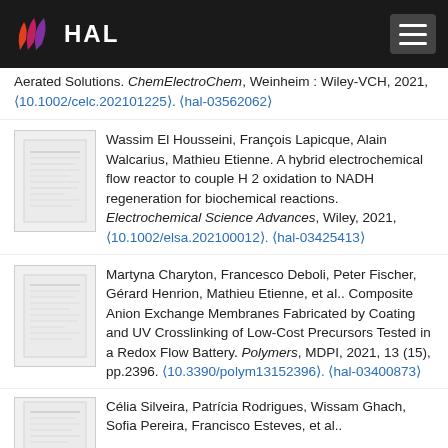HAL
Aerated Solutions. ChemElectroChem, Weinheim : Wiley-VCH, 2021, ⟨10.1002/celc.202101225⟩. ⟨hal-03562062⟩
Wassim El Housseini, François Lapicque, Alain Walcarius, Mathieu Etienne. A hybrid electrochemical flow reactor to couple H 2 oxidation to NADH regeneration for biochemical reactions. Electrochemical Science Advances, Wiley, 2021, ⟨10.1002/elsa.202100012⟩. ⟨hal-03425413⟩
Martyna Charyton, Francesco Deboli, Peter Fischer, Gérard Henrion, Mathieu Etienne, et al.. Composite Anion Exchange Membranes Fabricated by Coating and UV Crosslinking of Low-Cost Precursors Tested in a Redox Flow Battery. Polymers, MDPI, 2021, 13 (15), pp.2396. ⟨10.3390/polym13152396⟩. ⟨hal-03400873⟩
Célia Silveira, Patrícia Rodrigues, Wissam Ghach, Sofia Pereira, Francisco Esteves, et al..